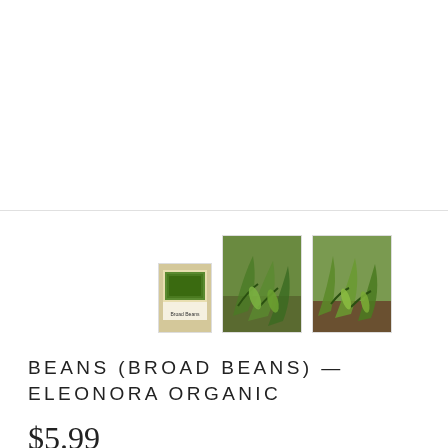[Figure (photo): Three thumbnail images of broad bean seed packet and bean plants growing in soil]
BEANS (BROAD BEANS) — ELEONORA ORGANIC
$5.99
CERTIFIED ORGANIC! The great feature of Eleonora Organic broad beans is that the plants stay relatively short, so they are not prone to falling over. This makes them the